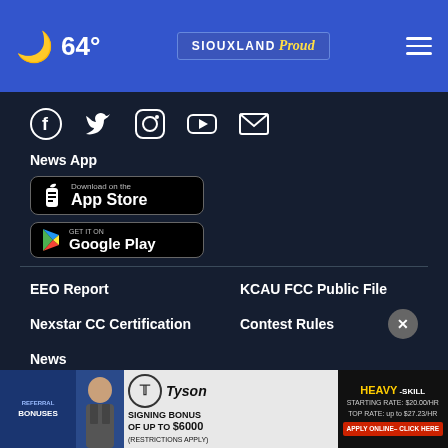64° SIOUXLAND Proud
[Figure (screenshot): Social media icons: Facebook, Twitter, Instagram, YouTube, Email]
News App
[Figure (screenshot): Download on the App Store badge]
[Figure (screenshot): GET IT ON Google Play badge]
EEO Report
KCAU FCC Public File
Nexstar CC Certification
Contest Rules
News
[Figure (screenshot): Tyson Foods job advertisement banner: Referral Bonuses, Signing Bonus of up to $6000, Heavy-Skill, Starting Rate: $20.00/HR, Top Rate: up to $27.23/HR, Apply Online - Click Here]